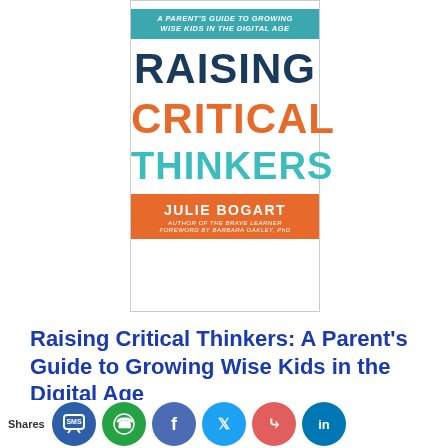[Figure (illustration): Book cover of 'Raising Critical Thinkers: A Parent's Guide to Growing Wise Kids in the Digital Age' by Julie Bogart. Cover has a teal subtitle banner at top, large dark blue 'RAISING', orange 'CRITICAL', teal 'THINKERS' text, and an orange author band at bottom.]
Raising Critical Thinkers: A Parent's Guide to Growing Wise Kids in the Digital Age
By Julie Bogart
Published: December 1,
Shares